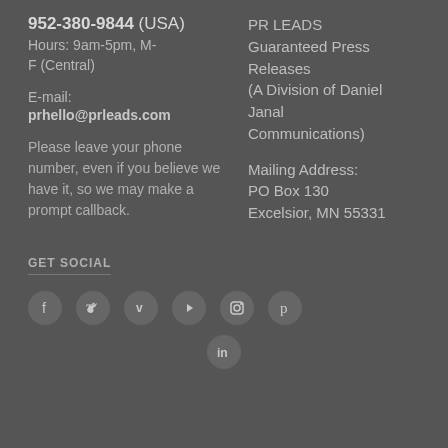952-380-9844 (USA)
Hours: 9am-5pm, M-F (Central)
E-mail:
prhello@prleads.com
Please leave your phone number, even if you believe we have it, so we may make a prompt callback.
PR LEADS
Guaranteed Press Releases
(A Division of Daniel Janal
Communications)
Mailing Address:
PO Box 130
Excelsior, MN 55331
GET SOCIAL
[Figure (illustration): Row of social media icon circles: Facebook, Twitter, Vimeo, YouTube, Instagram, Pinterest, and below them LinkedIn]